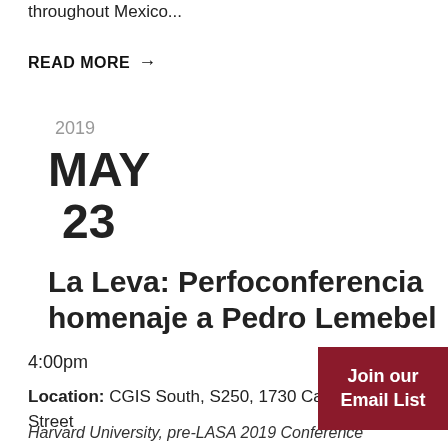throughout Mexico...
READ MORE →
2019
MAY
23
La Leva: Perfoconferencia homenaje a Pedro Lemebel
4:00pm
Location: CGIS South, S250, 1730 Cambridge Street
Harvard University, pre-LASA 2019 Conference
Join our Email List